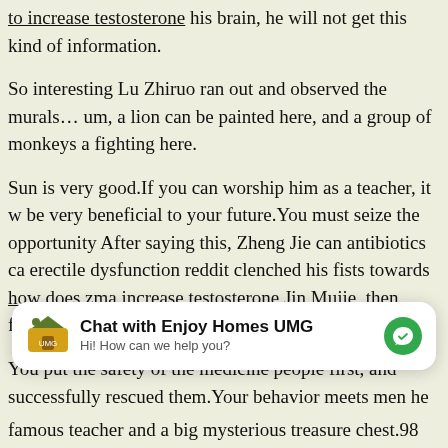to increase testosterone his brain, he will not get this kind of information.
So interesting Lu Zhiruo ran out and observed the murals…um, a lion can be painted here, and a group of monkeys a fighting here.
Sun is very good.If you can worship him as a teacher, it w be very beneficial to your future.You must seize the opportunity After saying this, Zheng Jie can antibiotics cause erectile dysfunction reddit clenched his fists towards how does zma increase testosterone Jin Mujie, then flicked his robe sleeves and turned away.
You put the safety of the medicine people first, and successfully rescued them.Your behavior meets men he...
[Figure (other): Chat widget overlay: Enjoy Homes UMG messenger chat bubble with logo, title 'Chat with Enjoy Homes UMG', subtitle 'Hi! How can we help you?', and a green messenger icon]
famous teacher and a big mysterious treasure chest.98